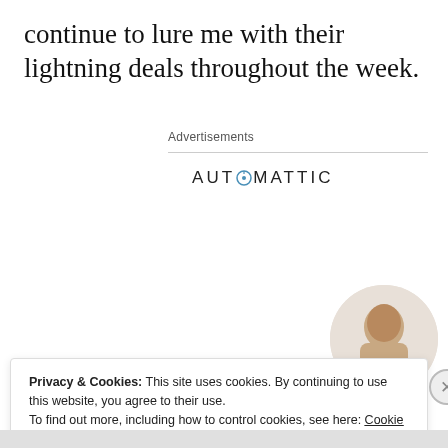continue to lure me with their lightning deals throughout the week.
Advertisements
[Figure (logo): AUTOMATTIC logo with a compass/clock icon replacing the letter O]
[Figure (infographic): Automattic advertisement: Build a better web and a better world. Apply button. Photo of a man thinking.]
Privacy & Cookies: This site uses cookies. By continuing to use this website, you agree to their use.
To find out more, including how to control cookies, see here: Cookie Policy
Close and accept